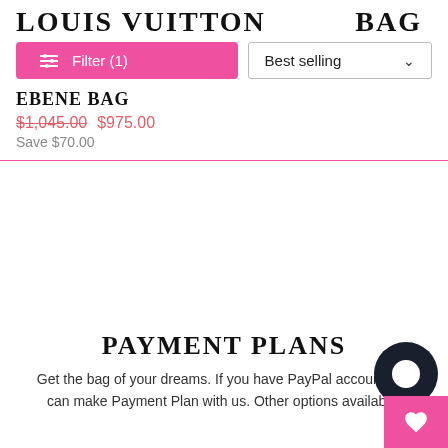LOUIS VUITTON
BAG
Filter (1)
Best selling
EBENE BAG
$1,045.00 $975.00
Save $70.00
PAYMENT PLANS
Get the bag of your dreams. If you have PayPal ac... you can make Payment Plan with us. Other options av...